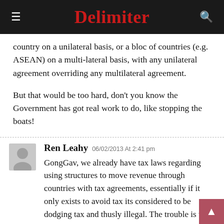Delimiter
country on a unilateral basis, or a bloc of countries (e.g. ASEAN) on a multi-lateral basis, with any unilateral agreement overriding any multilateral agreement.
But that would be too hard, don't you know the Government has got real work to do, like stopping the boats!
Ren Leahy 06/02/2013 At 2:41 pm
GongGav, we already have tax laws regarding using structures to move revenue through countries with tax agreements, essentially if it only exists to avoid tax its considered to be dodging tax and thusly illegal. The trouble is we (Australia) are slow to move on it.